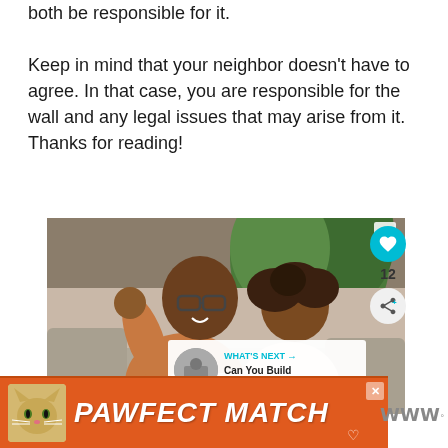both be responsible for it.
Keep in mind that your neighbor doesn't have to agree. In that case, you are responsible for the wall and any legal issues that may arise from it. Thanks for reading!
[Figure (photo): A man and a child sitting on a couch, with the man waving at a laptop screen. They appear to be video chatting. There are plants in the background. UI overlay elements visible: close button (X), like/heart button (teal circle with heart icon), share button, count '12', 'WHAT'S NEXT' callout showing 'Can You Build A Retaining...' with a circular thumbnail image.]
[Figure (infographic): An advertisement banner with orange background. Shows a cat image on the left and bold italic white text reading 'PAWFECT MATCH'. Has a close button (X) and a heart icon. A muted speaker icon appears to the right.]